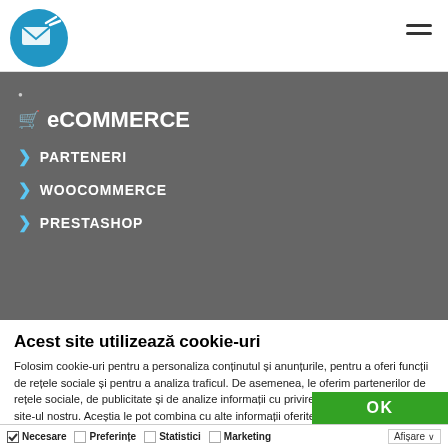sendSMS logo and hamburger menu
eCOMMERCE
PARTENERI
WOOCOMMERCE
PRESTASHOP
Acest site utilizează cookie-uri
Folosim cookie-uri pentru a personaliza conținutul și anunțurile, pentru a oferi funcții de rețele sociale și pentru a analiza traficul. De asemenea, le oferim partenerilor de rețele sociale, de publicitate și de analize informații cu privire la modul în care folosiți site-ul nostru. Aceștia le pot combina cu alte informații oferite de dvs. sau culese în urma folosirii serviciilor lor.
OK
Necesare  Preferințe  Statistici  Marketing  Afișare